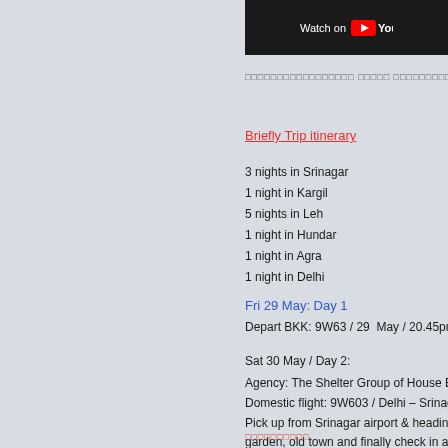[Figure (screenshot): YouTube 'Watch on YouTube' banner/button with dark background]
□□□□□□□□□□□□□□□□□ □□□□□ □□□□□□□□□□□□□□□□□ □
Briefly Trip itinerary
3 nights in Srinagar
1 night in Kargil
5 nights in Leh
1 night in Hundar
1 night in Agra
1 night in Delhi
Fri 29 May: Day 1
Depart BKK: 9W63 / 29  May / 20.45pm –
Sat 30 May / Day 2:
Agency: The Shelter Group of House Boa
Domestic flight: 9W603 / Delhi – Srinagar
Pick up from Srinagar airport & heading to
garden, old town and finally check in at H
□□□□□□□□□□